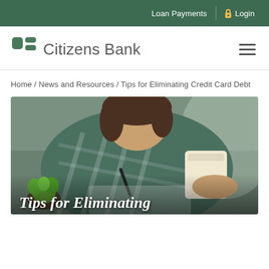Loan Payments  Login
[Figure (logo): Citizens Bank logo with green square icon and text 'Citizens Bank']
Home / News and Resources / Tips for Eliminating Credit Card Debt
[Figure (photo): Woman in plaid shirt writing notes while holding a paper bag, with a small succulent plant on the desk. Overlay text reads 'Tips for Eliminating']